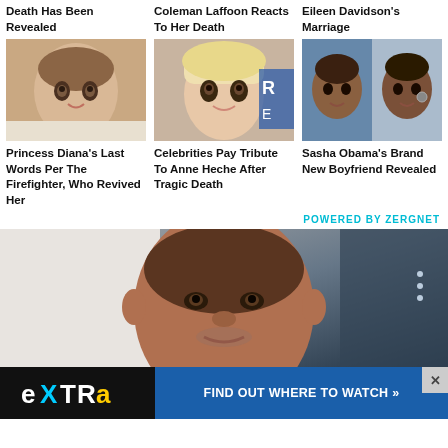Death Has Been Revealed
Coleman Laffoon Reacts To Her Death
Eileen Davidson's Marriage
[Figure (photo): Princess Diana portrait photo]
[Figure (photo): Anne Heche portrait photo]
[Figure (photo): Sasha Obama's boyfriend - two people]
Princess Diana's Last Words Per The Firefighter, Who Revived Her
Celebrities Pay Tribute To Anne Heche After Tragic Death
Sasha Obama's Brand New Boyfriend Revealed
POWERED BY ZERGNET
[Figure (photo): Man's face close-up photo]
[Figure (logo): Extra TV logo with 'FIND OUT WHERE TO WATCH' call to action]